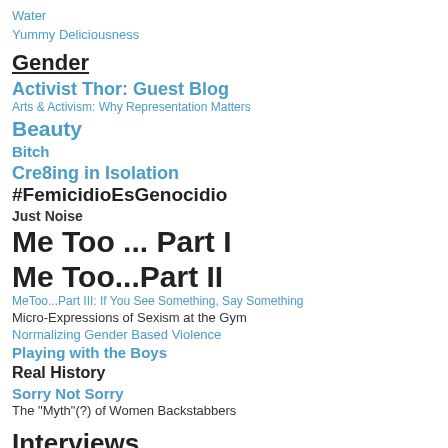Water
Yummy Deliciousness
Gender
Activist Thor: Guest Blog
Arts & Activism: Why Representation Matters
Beauty
Bitch
Cre8ing in Isolation
#FemicidioEsGenocidio
Just Noise
Me Too ... Part I
Me Too...Part II
MeToo...Part III:  If You See Something, Say Something
Micro-Expressions of Sexism at the Gym
Normalizing Gender Based Violence
Playing with the Boys
Real History
Sorry Not Sorry
The "Myth"(?) of Women Backstabbers
Interviews
40 by 40 with Jennifer Gabriel
Alex Dabagh, Upcycled Luxury Totes
Cookbook Author Charity Bratz